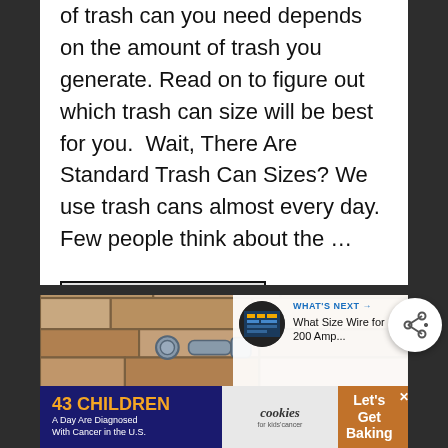of trash can you need depends on the amount of trash you generate. Read on to figure out which trash can size will be best for you.  Wait, There Are Standard Trash Can Sizes? We use trash cans almost every day. Few people think about the …
[Figure (screenshot): Read More button with dark border on light gray background]
[Figure (photo): Stone wall with bolts/hardware visible — next article thumbnail showing electrical wire topic: 'What Size Wire for 200 Amp...']
[Figure (infographic): Advertisement banner: '43 CHILDREN A Day Are Diagnosed With Cancer in the U.S.' with cookies for kids cancer logo and 'Let's Get Baking' text]